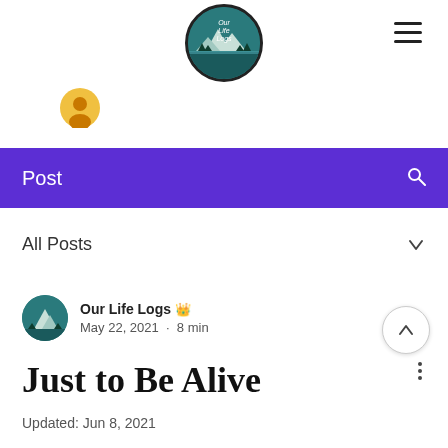[Figure (logo): Circular logo with mountain landscape and text 'Our Life Logs' on teal background]
[Figure (illustration): User/account icon in gold/yellow circle]
Post
All Posts
Our Life Logs 👑
May 22, 2021 · 8 min
Just to Be Alive
Updated: Jun 8, 2021